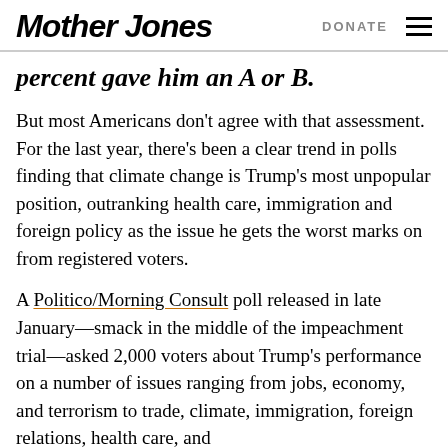Mother Jones | DONATE
percent gave him an A or B.
But most Americans don't agree with that assessment. For the last year, there's been a clear trend in polls finding that climate change is Trump's most unpopular position, outranking health care, immigration and foreign policy as the issue he gets the worst marks on from registered voters.
A Politico/Morning Consult poll released in late January—smack in the middle of the impeachment trial—asked 2,000 voters about Trump's performance on a number of issues ranging from jobs, economy, and terrorism to trade, climate, immigration, foreign relations, health care, and